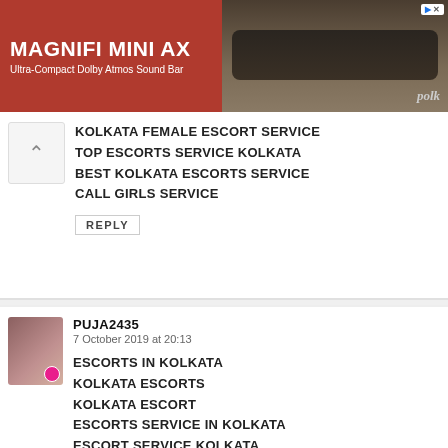[Figure (other): Advertisement banner for Polk Magnifi Mini AX Ultra-Compact Dolby Atmos Sound Bar with red background on left and product photo on right]
KOLKATA FEMALE ESCORT SERVICE
TOP ESCORTS SERVICE KOLKATA
BEST KOLKATA ESCORTS SERVICE
CALL GIRLS SERVICE
REPLY
PUJA2435
7 October 2019 at 20:13
ESCORTS IN KOLKATA
KOLKATA ESCORTS
KOLKATA ESCORT
ESCORTS SERVICE IN KOLKATA
ESCORT SERVICE KOLKATA
ESCORTS SERVICE
ESCORT SERVICE
ESCORT
ESCORTS
FEMALE ESCORTS SERVICE KOLKATA